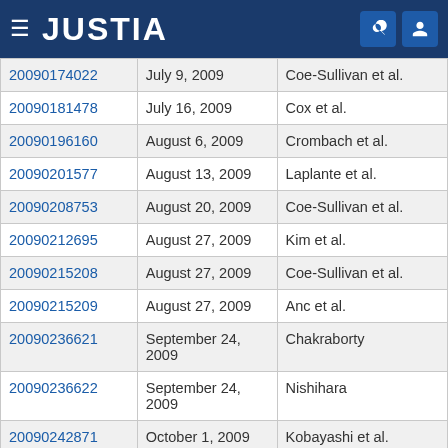JUSTIA
| Application Number | Date | Assignee |
| --- | --- | --- |
| 20090174022 | July 9, 2009 | Coe-Sullivan et al. |
| 20090181478 | July 16, 2009 | Cox et al. |
| 20090196160 | August 6, 2009 | Crombach et al. |
| 20090201577 | August 13, 2009 | Laplante et al. |
| 20090208753 | August 20, 2009 | Coe-Sullivan et al. |
| 20090212695 | August 27, 2009 | Kim et al. |
| 20090215208 | August 27, 2009 | Coe-Sullivan et al. |
| 20090215209 | August 27, 2009 | Anc et al. |
| 20090236621 | September 24, 2009 | Chakraborty |
| 20090236622 | September 24, 2009 | Nishihara |
| 20090242871 | October 1, 2009 | Kobayashi et al. |